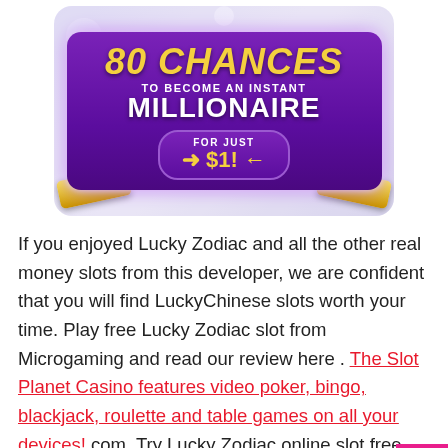[Figure (infographic): Casino promotional banner: '80 CHANCES TO BECOME AN INSTANT MILLIONAIRE FOR JUST $1!' on a purple background with gold bars and money graphics]
If you enjoyed Lucky Zodiac and all the other real money slots from this developer, we are confident that you will find LuckyChinese slots worth your time. Play free Lucky Zodiac slot from Microgaming and read our review here . The Slot Planet Casino features video poker, bingo, blackjack, roulette and table games on all your devices! com. Try Lucky Zodiac online slot free play demo just for fun or learn